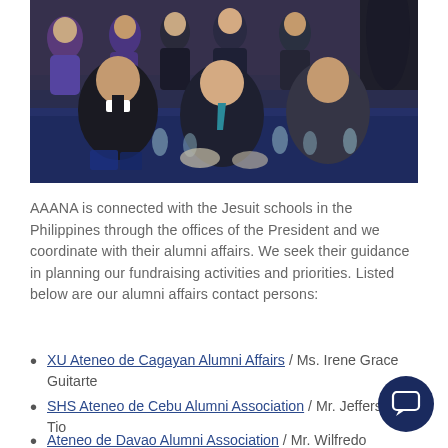[Figure (photo): Group photo of people seated and standing around a banquet table with navy blue tablecloth, formal event setting. People dressed formally including one person in clerical collar.]
AAANA is connected with the Jesuit schools in the Philippines through the offices of the President and we coordinate with their alumni affairs. We seek their guidance in planning our fundraising activities and priorities. Listed below are our alumni affairs contact persons:
XU Ateneo de Cagayan Alumni Affairs / Ms. Irene Grace Guitarte
SHS Ateneo de Cebu Alumni Association / Mr. Jefferson Tio
Ateneo de Davao Alumni Association / Mr. Wilfredo